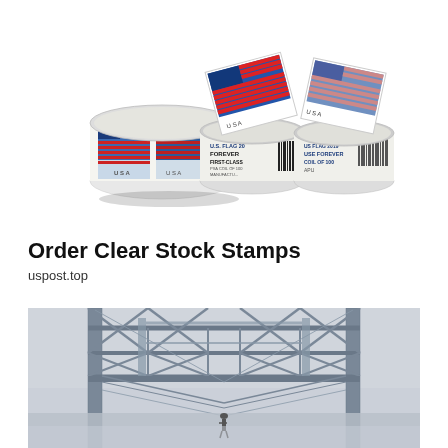[Figure (photo): Rolls of USPS US Flag Forever First-Class postage stamps, showing multiple coil rolls with American flag stamp designs. Labels read 'U.S. FLAG 2019 FOREVER FIRST-CLASS PSA COIL OF 100 MANUFACTURED' and similar text.]
Order Clear Stock Stamps
uspost.top
[Figure (photo): A steel bridge structure viewed from below/inside, showing metal trusses and framework. A small person is visible standing in the middle distance beneath the bridge arch.]